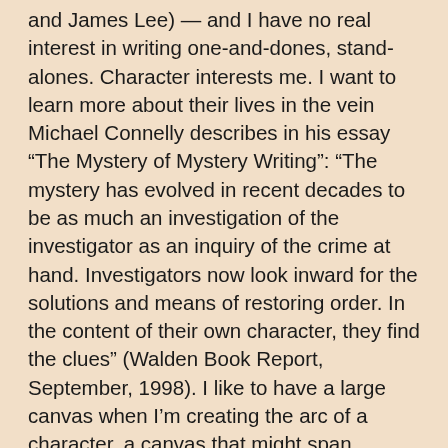and James Lee) — and I have no real interest in writing one-and-dones, stand-alones. Character interests me. I want to learn more about their lives in the vein Michael Connelly describes in his essay “The Mystery of Mystery Writing”: “The mystery has evolved in recent decades to be as much an investigation of the investigator as an inquiry of the crime at hand. Investigators now look inward for the solutions and means of restoring order. In the content of their own character, they find the clues” (Walden Book Report, September, 1998). I like to have a large canvas when I’m creating the arc of a character, a canvas that might span several books. I enjoy following a character, see her grow and develop and take on new challenges, and I enjoy books whose ill deeds expose moral ambiguity. All of this means the human condition is front and center in my plots: people do things, then, for relatively simple reasons.
So as I near the halfway point in draft No. 2, I’m taking inventory. The characters have come to life and are, fingers crossed, consistent and believable. Ditto the setting. The plot, though, has to be reeled in, simplified. I’m always looking for a way to find a twist at the end while honoring